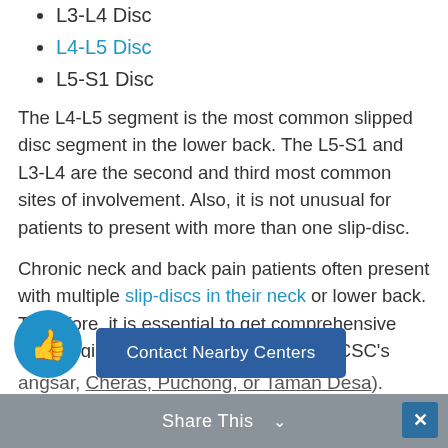L3-L4 Disc
L4-L5 Disc
L5-S1 Disc
The L4-L5 segment is the most common slipped disc segment in the lower back. The L5-S1 and L3-L4 are the second and third most common sites of involvement. Also, it is not unusual for patients to present with more than one slip-disc.
Chronic neck and back pain patients often present with multiple slip-discs in their neck or lower back. Therefore, it is essential to get comprehensive non-surgical care as early as possible. CSC's targeted precession slip disc treatments in Sri Petaling are suitable for any age. We started our Sri Petaling center to help patients in Sri Petaling and those living in nearby locations (Chiropractic & physiotherapy for Bangsar, Cheras, Puchong, or Taman Desa).